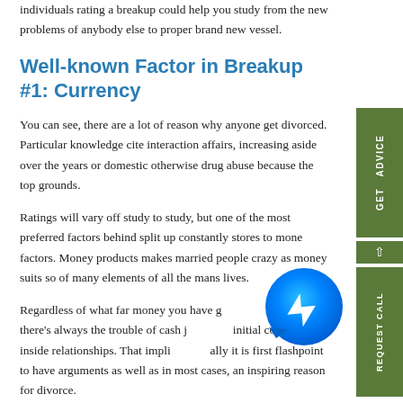individuals rating a breakup could help you study from the new problems of anybody else to proper brand new vessel.
Well-known Factor in Breakup #1: Currency
You can see, there are a lot of reason why anyone get divorced. Particular knowledge cite interaction affairs, increasing aside over the years or domestic otherwise drug abuse because the top grounds.
Ratings will vary off study to study, but one of the most preferred factors behind split up constantly stores to money factors. Money products makes married people crazy as money suits so of many elements of all the mans lives.
Regardless of what far money you have got (otherwise not), there's always the trouble of cash just as initial connector inside relationships. That implies typically it is first flashpoint to have arguments as well as in most cases, an inspiring reason for divorce.
[Figure (other): Facebook Messenger chat bubble icon (blue circle with white lightning bolt/arrow, with tail at bottom left)]
[Figure (other): Green vertical side buttons: 'GET ADVICE' and 'REQUEST CALL' with upward arrow]